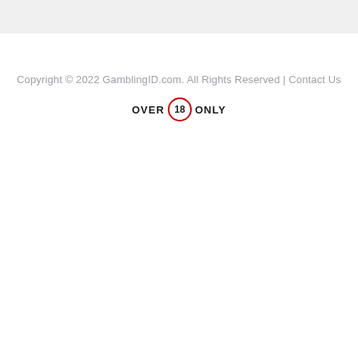Copyright © 2022 GamblingID.com. All Rights Reserved | Contact Us
[Figure (logo): Over 18 Only badge: bold text OVER and ONLY with a red-bordered circle containing the number 18]